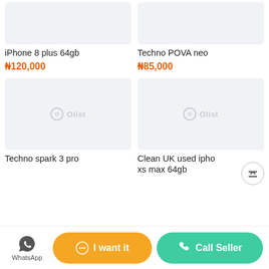[Figure (photo): Product image placeholder for iPhone 8 plus 64gb]
iPhone 8 plus 64gb
₦120,000
[Figure (photo): Product image placeholder for Techno POVA neo]
Techno POVA neo
₦85,000
[Figure (photo): Product image placeholder with Olist watermark for Techno spark 3 pro]
Techno spark 3 pro
[Figure (photo): Product image placeholder with Olist watermark for Clean UK used iphone xs max 64gb]
Clean UK used ipho xs max 64gb
WhatsApp
I want it
Call Seller